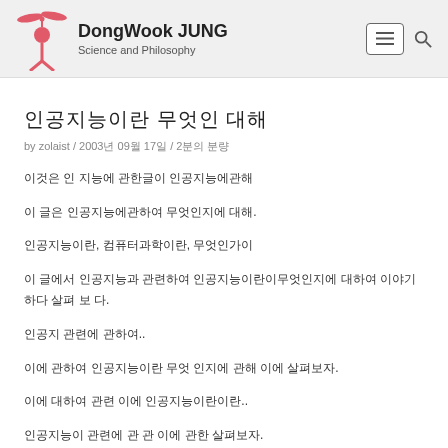DongWook JUNG — Science and Philosophy
인공지능이란 무엇인가 대해
by zolaist / 2003년 09월 17일 / 2분의 분량
이것은 인 지능에 관한글이 인공지능에관해
이 글은 인공지능에관하여 무엇인지에 대해.
인공지능이란, 컴퓨터과학이란, 무엇인가이
이 글에서 인공지능과 관련하여 인공지능이란이무엇인지에 대하여 이야기 하다 살펴 보 다.

인공지 관련에 관하여..
이에 관하여 인공지능이란 무엇 인지에 관해 이에 살펴보자.
이에 대하여 관련 이에 인공지능이란이란..
인공지능이 관련에 관 관 이에 관한 살펴보자.